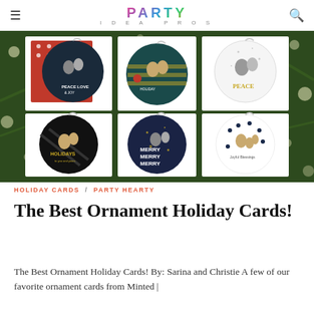PARTY IDEA PROS
[Figure (photo): Grid of six circular ornament holiday photo cards arranged on a Christmas tree background. Cards feature family photos with holiday greetings like 'Peace Love Joy', 'Merry Merry Merry', 'Holidays', and 'Peace'.]
HOLIDAY CARDS / PARTY HEARTY
The Best Ornament Holiday Cards!
The Best Ornament Holiday Cards! By: Sarina and Christie A few of our favorite ornament cards from Minted |